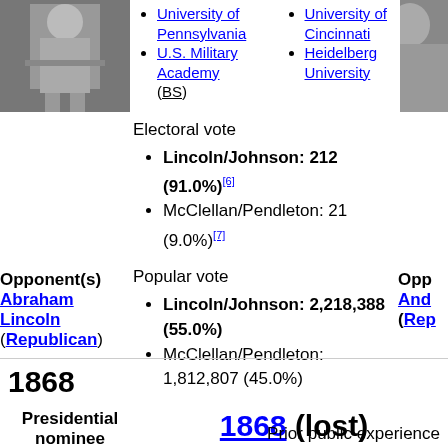[Figure (photo): Black and white photograph of a military officer in uniform, left side of page]
University of Pennsylvania
U.S. Military Academy (BS)
University of Cincinnati
Heidelberg University
[Figure (photo): Partial black and white portrait photograph, right side of page]
Electoral vote
Lincoln/Johnson: 212 (91.0%)[6]
McClellan/Pendleton: 21 (9.0%)[7]
Opponent(s) Abraham Lincoln (Republican)
Popular vote
Lincoln/Johnson: 2,218,388 (55.0%)
McClellan/Pendleton: 1,812,807 (45.0%)
Opp... And... (Rep...
1868
Presidential nominee
1868 (lost)
Prior public experience